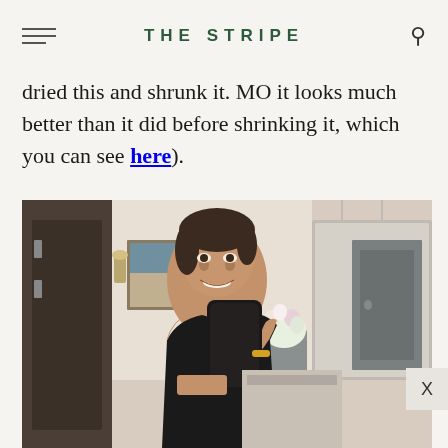THE STRIPE
dried this and shrunk it. MO it looks much better than it did before shrinking it, which you can see here).
[Figure (photo): Woman in a black one-shoulder dress taking a mirror selfie with a phone, smiling. Background shows a home interior with pendant lights, framed artwork, flowers, and a gray door.]
X